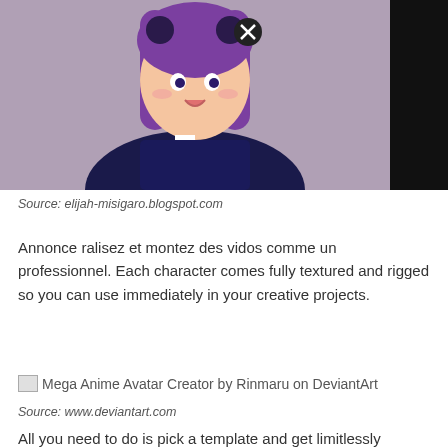[Figure (photo): Anime character with purple hair, dark uniform with gold accents and red tie, posed against a dark background. A close button overlay is visible in the upper area.]
Source: elijah-misigaro.blogspot.com
Annonce ralisez et montez des vidos comme un professionnel. Each character comes fully textured and rigged so you can use immediately in your creative projects.
[Figure (illustration): Mega Anime Avatar Creator by Rinmaru on DeviantArt — broken image placeholder shown]
Source: www.deviantart.com
All you need to do is pick a template and get limitlessly creative with it. It connects industry leading pipelines into one system for 3d character generation, animation, rendering, and interactive design.